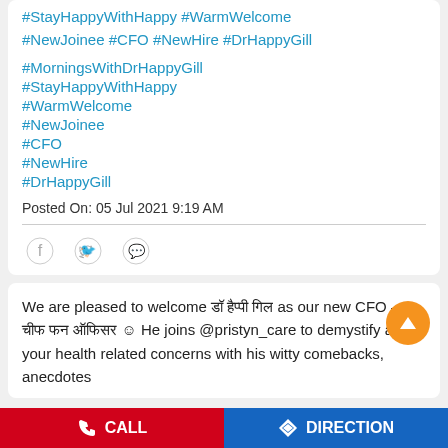#StayHappyWithHappy #WarmWelcome #NewJoinee #CFO #NewHire #DrHappyGill
#MorningsWithDrHappyGill
#StayHappyWithHappy
#WarmWelcome
#NewJoinee
#CFO
#NewHire
#DrHappyGill
Posted On: 05 Jul 2021 9:19 AM
[Figure (infographic): Social share icons: Facebook, Twitter, WhatsApp]
We are pleased to welcome डॉ हैप्पी गिल as our new CFO – चीफ फन ऑफिसर 😊 He joins @pristyn_care to demystify all your health related concerns with his witty comebacks, anecdotes
CALL   DIRECTION